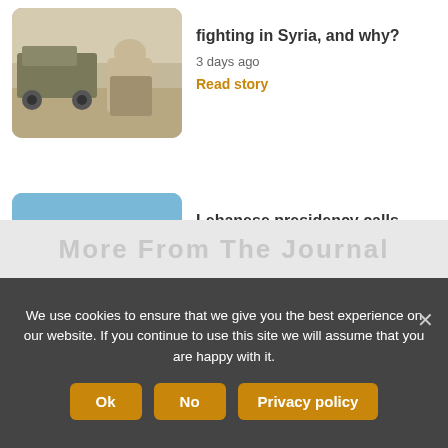[Figure (photo): Military vehicle and soldiers in desert setting]
fighting in Syria, and why?
3 days ago
Read story
[Figure (photo): Man in suit pointing finger at podium with Lebanese flag background]
Lebanese presidency calls detractors 'bastards'
3 days ago
Read story
We use cookies to ensure that we give you the best experience on our website. If you continue to use this site we will assume that you are happy with it.